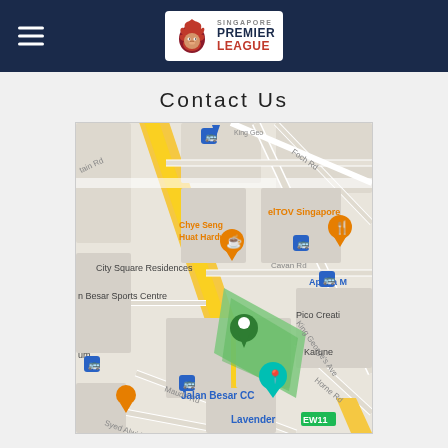Singapore Premier League - Navigation header
Contact Us
[Figure (map): Google Maps view showing Jalan Besar Sports Centre area in Singapore, with landmarks including Chye Seng Huat Hardware, City Square Residences, Jalan Besar CC, Lavender MRT EW11, King George's Ave, Cavan Rd, Foch Rd, Maude Rd, Syed Alwi Rd, Horne Rd, and various bus stop icons. A green map pin marks Jalan Besar Sports Centre (shown as a green diamond-shaped field).]